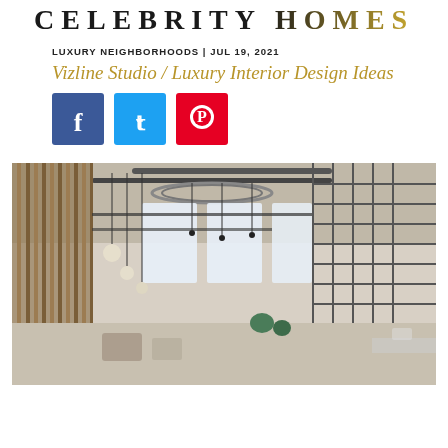CELEBRITY HOMES
LUXURY NEIGHBORHOODS | JUL 19, 2021
Vizline Studio / Luxury Interior Design Ideas
[Figure (other): Social media share buttons: Facebook (blue), Twitter (light blue), Pinterest (red)]
[Figure (photo): Luxury interior design photo showing an industrial-style open space with exposed ductwork on the ceiling, wooden vertical slat partitions on the left, pendant globe lights, metal grid structures, large windows letting in natural light, and seating areas with plants in the background.]